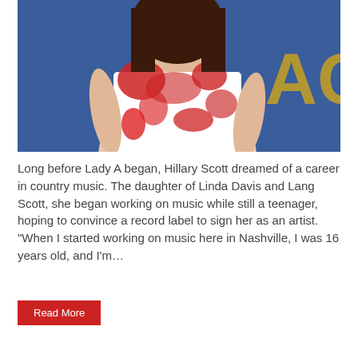[Figure (photo): A woman with long dark hair wearing a red and white floral/abstract patterned dress, photographed from the torso up against a blue background with partial gold lettering visible.]
Long before Lady A began, Hillary Scott dreamed of a career in country music. The daughter of Linda Davis and Lang Scott, she began working on music while still a teenager, hoping to convince a record label to sign her as an artist. "When I started working on music here in Nashville, I was 16 years old, and I'm...